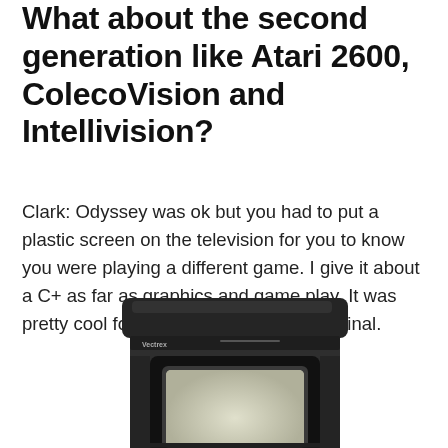What about the second generation like Atari 2600, ColecoVision and Intellivision?
Clark: Odyssey was ok but you had to put a plastic screen on the television for you to know you were playing a different game. I give it about a C+ as far as graphics and game play. It was pretty cool for it's time. Vectrex was original.
[Figure (photo): A Vectrex game console — a dark grey/black CRT television-like unit with a built-in screen showing a light grey/white display, with a boxy cabinet shape typical of early 1980s home video game consoles.]